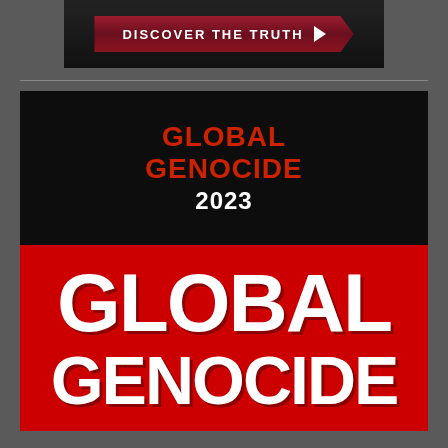[Figure (illustration): Dark banner with red chevron button reading DISCOVER THE TRUTH with a right-pointing arrow]
[Figure (illustration): Book or media cover with black top section showing GLOBAL GENOCIDE 2023 in red and white text, and a red bottom section with large white GLOBAL GENOCIDE text]